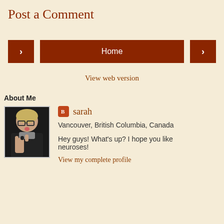Post a Comment
< Home >
View web version
About Me
[Figure (photo): Profile photo of sarah making a rock hand gesture]
sarah
Vancouver, British Columbia, Canada
Hey guys! What's up? I hope you like neuroses!
View my complete profile